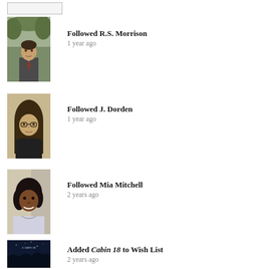[Figure (photo): Small rectangular button/widget at top left]
[Figure (photo): Portrait photo of R.S. Morrison, a man in a suit standing outdoors]
Followed R.S. Morrison
1 year ago
[Figure (photo): Portrait photo of J. Dorden, a woman with glasses and long hair]
Followed J. Dorden
1 year ago
[Figure (photo): Portrait photo of Mia Mitchell, a smiling woman]
Followed Mia Mitchell
2 years ago
[Figure (photo): Book cover of Cabin 18, dark blue night scene]
Added Cabin 18 to Wish List
2 years ago